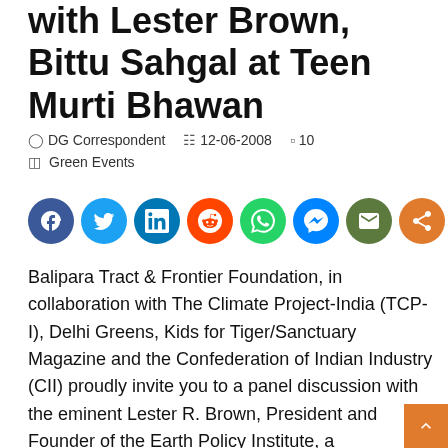with Lester Brown, Bittu Sahgal at Teen Murti Bhawan
DG Correspondent   12-06-2008   10   Green Events
[Figure (other): Social media share buttons: Facebook, Twitter, LinkedIn, Reddit, WhatsApp, Messenger, Email, Share]
Balipara Tract & Frontier Foundation, in collaboration with The Climate Project-India (TCP-I), Delhi Greens, Kids for Tiger/Sanctuary Magazine and the Confederation of Indian Industry (CII) proudly invite you to a panel discussion with the eminent Lester R. Brown, President and Founder of the Earth Policy Institute, a Washington, D.C. based independent environmental research organization.